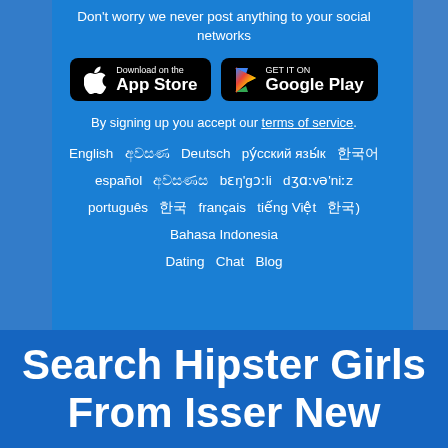Don't worry we never post anything to your social networks
[Figure (logo): Download on the App Store button (black)]
[Figure (logo): GET IT ON Google Play button (black)]
By signing up you accept our terms of service.
English  ​ ​​​​​  Deutsch  ру́сский язы́к  한국어  español  ​​​​​​  bɛŋ'gɔːli  dʒɑːvə'niːz  português  한국  français  tiếng Việt  한국) Bahasa Indonesia
Dating  Chat  Blog
Search Hipster Girls From Isser New